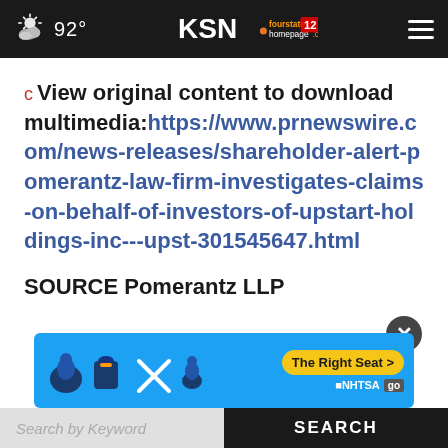KSN fourstates homepage.com 12 | 92°
c View original content to download multimedia:https://www.prnewswire.com/news-releases/shareholder-alert-pomerantz-law-firm-investigates-claims-on-behalf-of-investors-of-upstart-holdings-inc---upst-301545647.html
SOURCE Pomerantz LLP
[Figure (screenshot): Advertisement banner with NHTSA 'The Right Seat' campaign with seat icons on blue background]
Search by Keyword | SEARCH